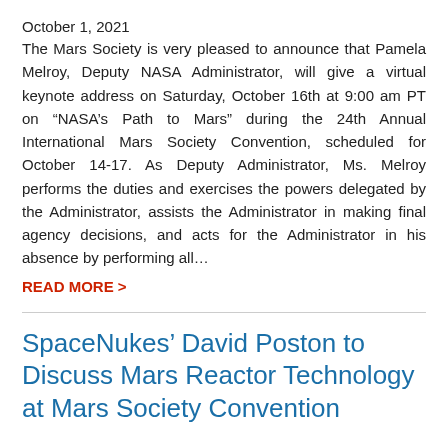October 1, 2021
The Mars Society is very pleased to announce that Pamela Melroy, Deputy NASA Administrator, will give a virtual keynote address on Saturday, October 16th at 9:00 am PT on “NASA’s Path to Mars” during the 24th Annual International Mars Society Convention, scheduled for October 14-17. As Deputy Administrator, Ms. Melroy performs the duties and exercises the powers delegated by the Administrator, assists the Administrator in making final agency decisions, and acts for the Administrator in his absence by performing all…
READ MORE >
SpaceNukes’ David Poston to Discuss Mars Reactor Technology at Mars Society Convention